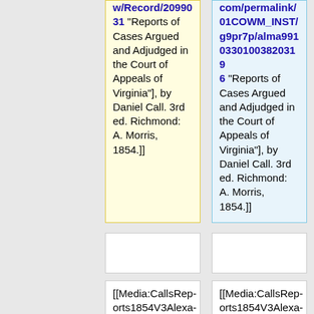w/Record/2099031 "Reports of Cases Argued and Adjudged in the Court of Appeals of Virginia"], by Daniel Call. 3rd ed. Richmond: A. Morris, 1854.]]
com/permalink/01COWM_INST/g9pr7p/alma99103301003820319 6 "Reports of Cases Argued and Adjudged in the Court of Appeals of Virginia"], by Daniel Call. 3rd ed. Richmond: A. Morris, 1854.]]
[[Media:CallsReports1854V3AlexandervMorris.pdf|"Alexander v. Morris"]], 7 Va. 88, 3 Call 89 (1801), <ref>Daniel Call,
[[Media:CallsReports1854V3AlexandervMorris.pdf|"Alexander v. Morris"]], 7 Va. 88, 3 Call 89 (1801), <ref>Daniel Call,